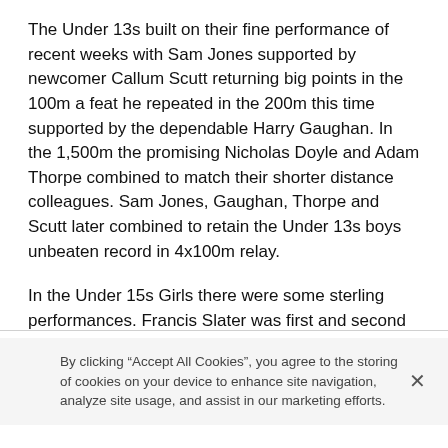The Under 13s built on their fine performance of recent weeks with Sam Jones supported by newcomer Callum Scutt returning big points in the 100m a feat he repeated in the 200m this time supported by the dependable Harry Gaughan. In the 1,500m the promising Nicholas Doyle and Adam Thorpe combined to match their shorter distance colleagues. Sam Jones, Gaughan, Thorpe and Scutt later combined to retain the Under 13s boys unbeaten record in 4x100m relay.
In the Under 15s Girls there were some sterling performances. Francis Slater was first and second in the A-string 100m and 200m sprints and Abbie Griffiths collected two firsts in the B-string.
By clicking “Accept All Cookies”, you agree to the storing of cookies on your device to enhance site navigation, analyze site usage, and assist in our marketing efforts.